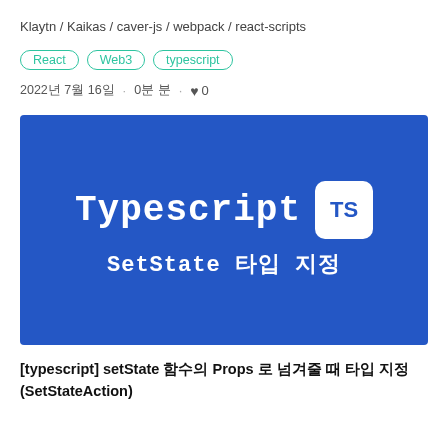Klaytn / Kaikas / caver-js / webpack / react-scripts
React
Web3
typescript
2022년 7월 16일 · 0분 분 · ♥ 0
[Figure (illustration): Blue background thumbnail image with white text 'Typescript TS' (TS in a white rounded square badge) and subtitle 'SetState 타입 지정' in monospace/code font style]
[typescript] setState 함수의 Props 로 넘겨줄 때 타입 지정 (SetStateAction)